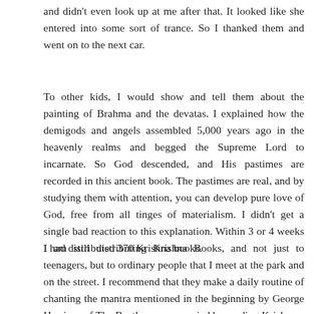and didn't even look up at me after that. It looked like she entered into some sort of trance. So I thanked them and went on to the next car.
To other kids, I would show and tell them about the painting of Brahma and the devatas. I explained how the demigods and angels assembled 5,000 years ago in the heavenly realms and begged the Supreme Lord to incarnate. So God descended, and His pastimes are recorded in this ancient book. The pastimes are real, and by studying them with attention, you can develop pure love of God, free from all tinges of materialism. I didn't get a single bad reaction to this explanation. Within 3 or 4 weeks I had distributed 370 Krishna books.
I am still distributing Krishna Books, and not just to teenagers, but to ordinary people that I meet at the park and on the street. I recommend that they make a daily routine of chanting the mantra mentioned in the beginning by George Harrison of The Beatles, accompanied by reading Krishna